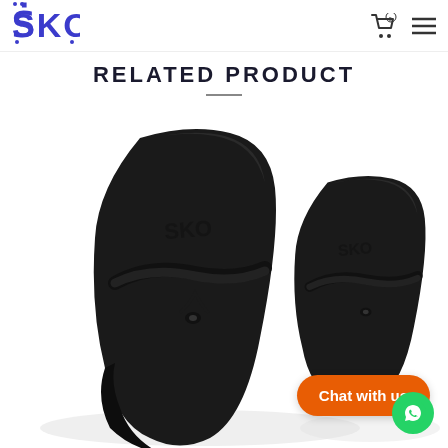SKO — navigation header with cart icon and menu icon
RELATED PRODUCT
[Figure (photo): Two black rubber/silicone toe-post sandals (flip-flops) with the SKO logo embossed on the footbed, photographed close-up on a white background. One sandal is in the foreground slightly left, the other is behind and to the right.]
Chat with us